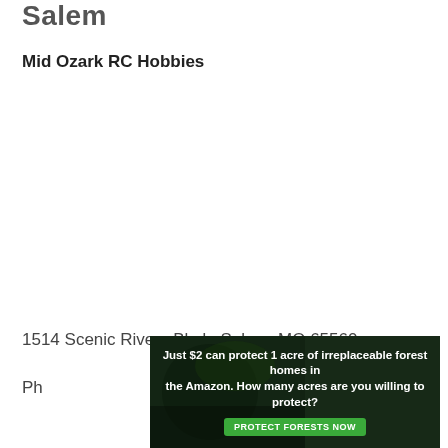Salem
Mid Ozark RC Hobbies
1514 Scenic Rivers Blvd., Salem, MO 65560
Ph...
[Figure (infographic): Advertisement banner: dark forest background with text 'Just $2 can protect 1 acre of irreplaceable forest homes in the Amazon. How many acres are you willing to protect?' and a green button labeled 'PROTECT FORESTS NOW']